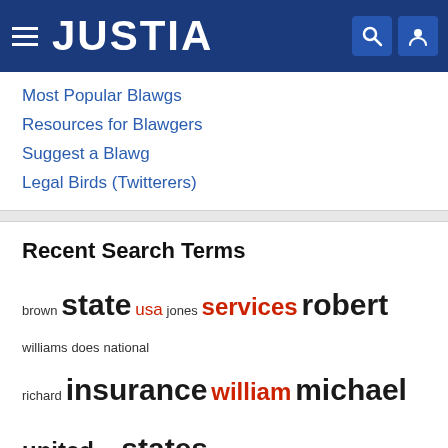JUSTIA
Most Popular Blawgs
Resources for Blawgers
Suggest a Blawg
Legal Birds (Twitterers)
Recent Search Terms
brown state usa jones services robert williams does national richard insurance william michael united city states joseph johnson county international police american david new america charles mark department bank smith doe medical paul security office thomas james john scott attorney
Featured Blawger